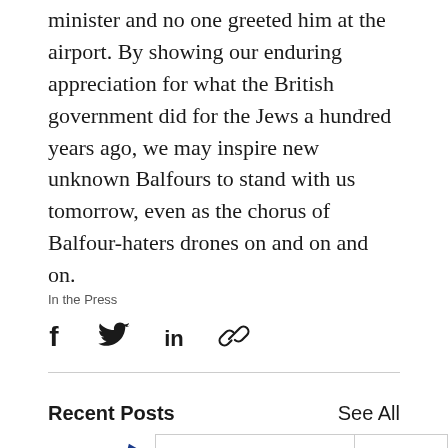minister and no one greeted him at the airport. By showing our enduring appreciation for what the British government did for the Jews a hundred years ago, we may inspire new unknown Balfours to stand with us tomorrow, even as the chorus of Balfour-haters drones on and on and on.
In the Press
[Figure (infographic): Social share icons: Facebook, Twitter, LinkedIn, link/chain]
Recent Posts
See All
[Figure (other): Partial card with blue flag/bookmark icon on left, and center card with Media Advisory: Exclusive text]
Media Advisory: Exclusive